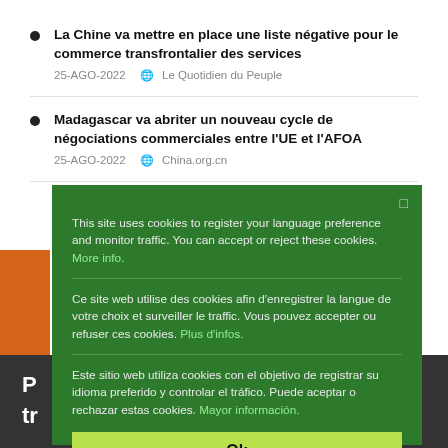La Chine va mettre en place une liste négative pour le commerce transfrontalier des services
25-AGO-2022  Le Quotidien du Peuple
Madagascar va abriter un nouveau cycle de négociations commerciales entre l'UE et l'AFOA
25-AGO-2022  China.org.cn
This site uses cookies to register your language preference and monitor traffic. You can accept or reject these cookies. More info.

Ce site web utilise des cookies afin d'enregistrer la langue de votre choix et surveiller le traffic. Vous pouvez accepter ou refuser ces cookies. Plus d'infos.

Este sitio web utiliza cookies con el objetivo de registrar su idioma preferido y controlar el tráfico. Puede aceptar o rechazar estas cookies. Mayor información.
Ok